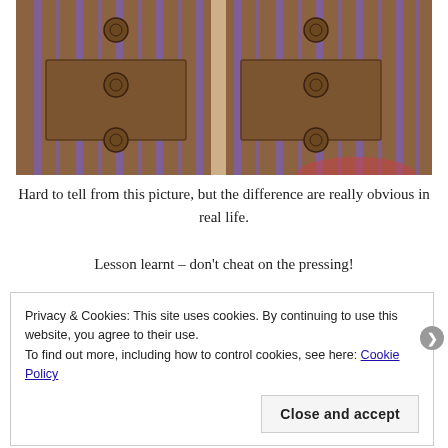[Figure (photo): Close-up photo of a brown and purple plaid/striped fabric garment with buttons, lying flat on a surface. Shows two front panels of what appears to be a shirt or jacket with multiple buttons.]
Hard to tell from this picture, but the difference are really obvious in real life.
Lesson learnt – don't cheat on the pressing!
Privacy & Cookies: This site uses cookies. By continuing to use this website, you agree to their use.
To find out more, including how to control cookies, see here: Cookie Policy